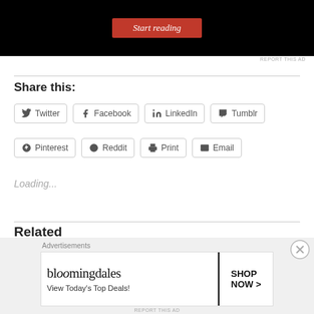[Figure (screenshot): Top advertisement banner with black background and red 'Start reading' button]
REPORT THIS AD
Share this:
Twitter
Facebook
LinkedIn
Tumblr
Pinterest
Reddit
Print
Email
Loading...
Related
[Figure (screenshot): Bloomingdale's advertisement banner: 'View Today's Top Deals!' with SHOP NOW button and woman in hat]